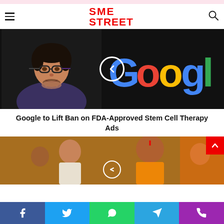SME STREET
[Figure (photo): Photo of Sundar Pichai (Google CEO) on the left against a dark background, and the Google logo on the right. A circular back-arrow navigation button overlays the center of the image.]
Google to Lift Ban on FDA-Approved Stem Cell Therapy Ads
[Figure (photo): Partially visible photo of Indian politicians/officials at the bottom of the page.]
Facebook | Twitter | WhatsApp | Telegram | Phone social share bar